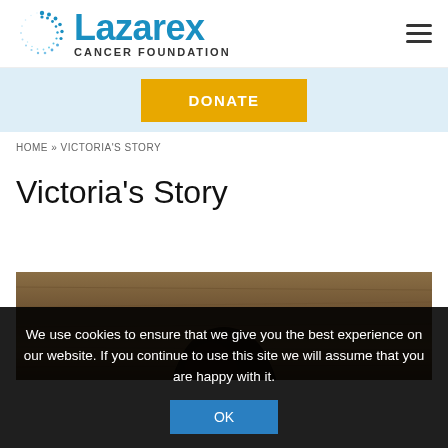[Figure (logo): Lazarex Cancer Foundation logo with circular dot pattern and blue text]
DONATE
HOME » VICTORIA'S STORY
Victoria's Story
[Figure (photo): Photo of a person's head/back, warm brownish tones, partially visible]
We use cookies to ensure that we give you the best experience on our website. If you continue to use this site we will assume that you are happy with it.
OK